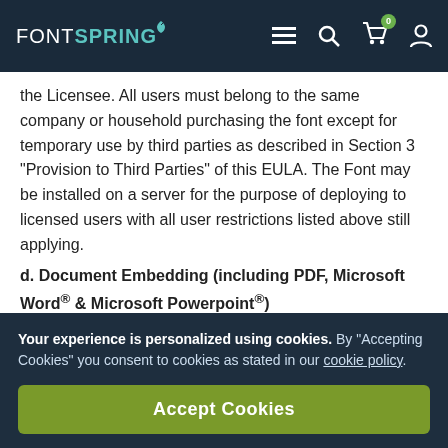FONTSPRING navigation header with menu, search, cart (0), and user icons
the Licensee. All users must belong to the same company or household purchasing the font except for temporary use by third parties as described in Section 3 “Provision to Third Parties” of this EULA. The Font may be installed on a server for the purpose of deploying to licensed users with all user restrictions listed above still applying.
d. Document Embedding (including PDF, Microsoft Word® & Microsoft Powerpoint®)
Documents embedding the Font and sent to third parties, must be read-only by those recipients.
Your experience is personalized using cookies. By “Accepting Cookies” you consent to cookies as stated in our cookie policy.
Accept Cookies